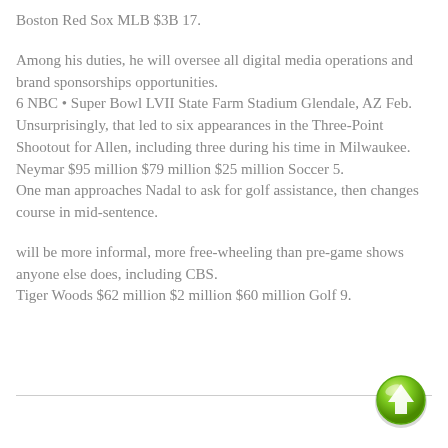Boston Red Sox MLB $3B 17.
Among his duties, he will oversee all digital media operations and brand sponsorships opportunities.
6 NBC • Super Bowl LVII State Farm Stadium Glendale, AZ Feb.
Unsurprisingly, that led to six appearances in the Three-Point Shootout for Allen, including three during his time in Milwaukee.
Neymar $95 million $79 million $25 million Soccer 5.
One man approaches Nadal to ask for golf assistance, then changes course in mid-sentence.
will be more informal, more free-wheeling than pre-game shows anyone else does, including CBS.
Tiger Woods $62 million $2 million $60 million Golf 9.